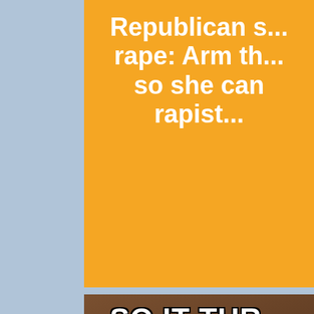[Figure (infographic): Orange background meme image (top portion) with white bold text reading: 'Republican s... rape: Arm th... so she can rapist']
[Figure (photo): Meme image with brown/wood background showing a person with brown hair. Bold white text with black outline reads: 'SO IT TUR... WAS A STAUN...']